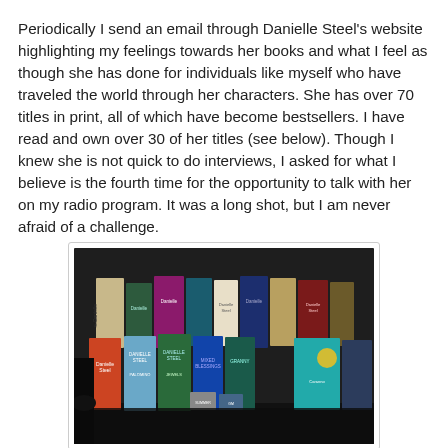Periodically I send an email through Danielle Steel's website highlighting my feelings towards her books and what I feel as though she has done for individuals like myself who have traveled the world through her characters. She has over 70 titles in print, all of which have become bestsellers. I have read and own over 30 of her titles (see below). Though I knew she is not quick to do interviews, I asked for what I believe is the fourth time for the opportunity to talk with her on my radio program. It was a long shot, but I am never afraid of a challenge.
[Figure (photo): A collection of Danielle Steel books stacked and arranged on a dark surface, showing colorful spines and covers of various titles including Jewels and others.]